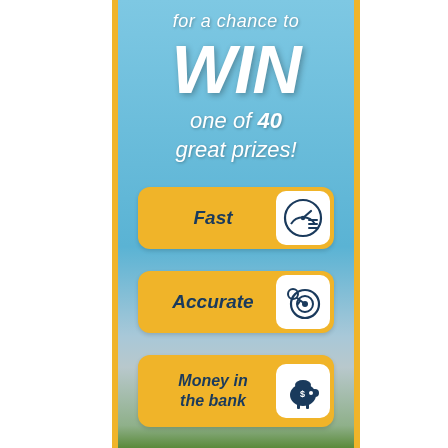for a chance to
WIN
one of 40 great prizes!
Fast
Accurate
Money in the bank